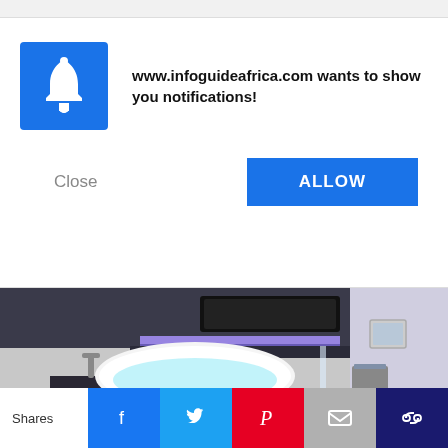www.infoguideafrica.com wants to show you notifications!
Close
ALLOW
[Figure (photo): Modern luxury bathroom with a freestanding white bathtub on a dark platform, with purple LED lighting under a floating shelf, and a glass shower area in the background.]
Mind-Bending Technology That Was Predicted Before It Appeared
Brainberries
MORE FROM AROUND THE WEB
Shares